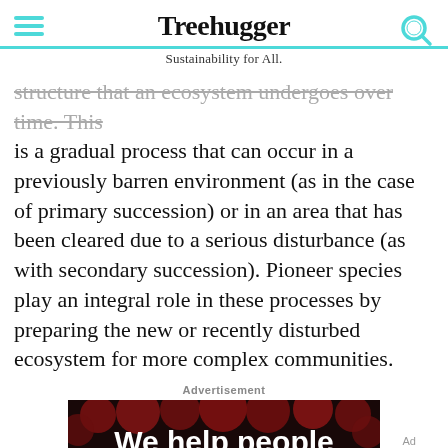Treehugger — Sustainability for All.
structure that an ecosystem undergoes over time. This is a gradual process that can occur in a previously barren environment (as in the case of primary succession) or in an area that has been cleared due to a serious disturbance (as with secondary succession). Pioneer species play an integral role in these processes by preparing the new or recently disturbed ecosystem for more complex communities.
[Figure (screenshot): Advertisement banner: dark background with red dots pattern. Large white text 'We help people'. Bottom strip shows 'We help people find answers, solve problems and get inspired.' with Dotdash Meredith logo.]